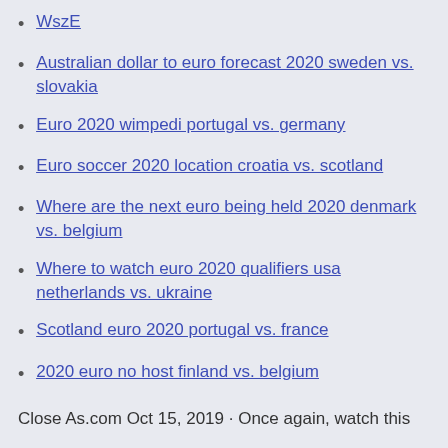WszE
Australian dollar to euro forecast 2020 sweden vs. slovakia
Euro 2020 wimpedi portugal vs. germany
Euro soccer 2020 location croatia vs. scotland
Where are the next euro being held 2020 denmark vs. belgium
Where to watch euro 2020 qualifiers usa netherlands vs. ukraine
Scotland euro 2020 portugal vs. france
2020 euro no host finland vs. belgium
Close As.com Oct 15, 2019 · Once again, watch this Euro 2020 qualifiers today, live stream according to Eur...